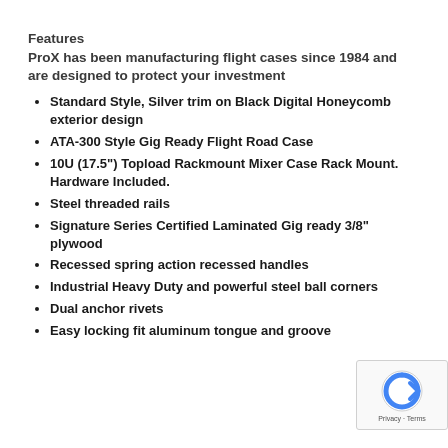Features
ProX has been manufacturing flight cases since 1984 and are designed to protect your investment
Standard Style, Silver trim on Black Digital Honeycomb exterior design
ATA-300 Style Gig Ready Flight Road Case
10U (17.5") Topload Rackmount Mixer Case Rack Mount. Hardware Included.
Steel threaded rails
Signature Series Certified Laminated Gig ready 3/8" plywood
Recessed spring action recessed handles
Industrial Heavy Duty and powerful steel ball corners
Dual anchor rivets
Easy locking fit aluminum tongue and groove